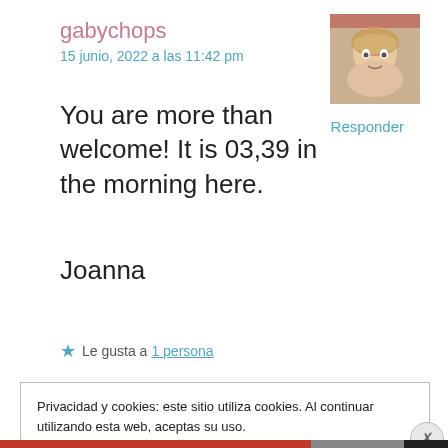gabychops
15 junio, 2022 a las 11:42 pm
[Figure (photo): Avatar photo of a person with bangs and light hair]
Responder
You are more than welcome! It is 03,39 in the morning here.
Joanna
★ Le gusta a 1 persona
Privacidad y cookies: este sitio utiliza cookies. Al continuar utilizando esta web, aceptas su uso.
Para obtener más información, incluido cómo controlar las cookies, consulta aquí: Política de cookies
Cerrar y aceptar